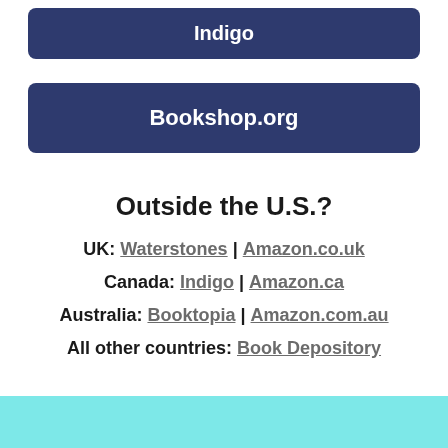[Figure (other): Dark navy blue button with bold white text reading 'Indigo']
[Figure (other): Dark navy blue button with bold white text reading 'Bookshop.org']
Outside the U.S.?
UK: Waterstones | Amazon.co.uk
Canada: Indigo | Amazon.ca
Australia: Booktopia | Amazon.com.au
All other countries: Book Depository